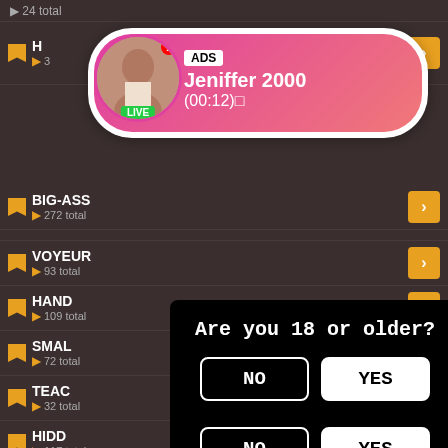24 total
[Figure (screenshot): Ad banner with live avatar for Jeniffer 2000, showing ADS label, name, and timer (00:12), with LIVE badge]
BIG-ASS
272 total
VOYEUR
93 total
HAND
109 total
SMAL
72 total
[Figure (screenshot): Age verification modal: Are you 18 or older? with NO and YES buttons and red X close button]
TEAC
32 total
HIDD
117 total
[Figure (screenshot): Second age verification modal: Are you 18 or older? with NO and YES buttons]